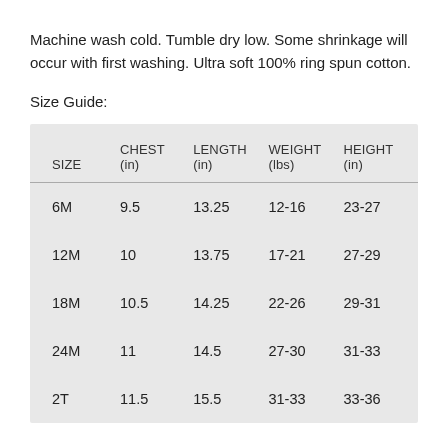Machine wash cold. Tumble dry low. Some shrinkage will occur with first washing. Ultra soft 100% ring spun cotton.
Size Guide:
| SIZE | CHEST
(in) | LENGTH
(in) | WEIGHT
(lbs) | HEIGHT
(in) |
| --- | --- | --- | --- | --- |
| 6M | 9.5 | 13.25 | 12-16 | 23-27 |
| 12M | 10 | 13.75 | 17-21 | 27-29 |
| 18M | 10.5 | 14.25 | 22-26 | 29-31 |
| 24M | 11 | 14.5 | 27-30 | 31-33 |
| 2T | 11.5 | 15.5 | 31-33 | 33-36 |